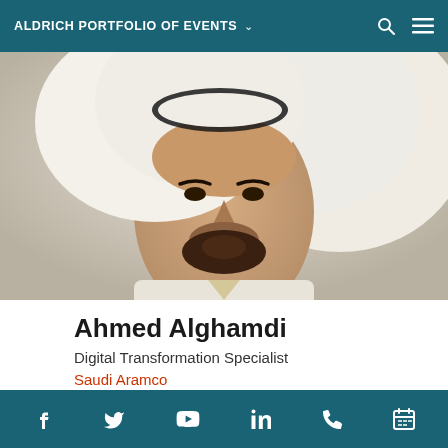ALDRICH PORTFOLIO OF EVENTS
[Figure (photo): Headshot of Ahmed Alghamdi wearing white traditional Arabic dress and headdress]
Ahmed Alghamdi
Digital Transformation Specialist
Saudi Aramco
[Figure (photo): Partial headshot of a second person with grey/brown hair, cropped at top of image]
f  Twitter  YouTube  in  Phone  Calendar